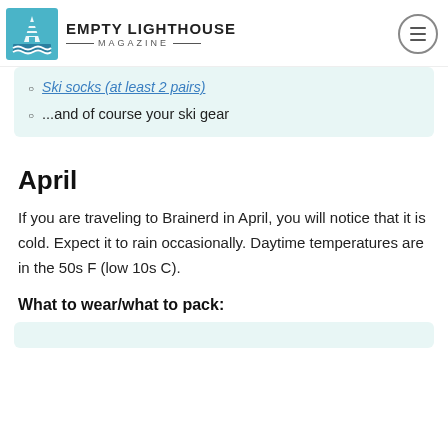EMPTY LIGHTHOUSE MAGAZINE
Ski socks (at least 2 pairs)
...and of course your ski gear
April
If you are traveling to Brainerd in April, you will notice that it is cold. Expect it to rain occasionally. Daytime temperatures are in the 50s F (low 10s C).
What to wear/what to pack: